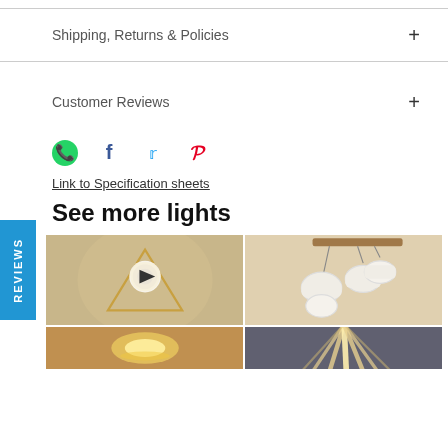Shipping, Returns & Policies
Customer Reviews
Link to Specification sheets
See more lights
[Figure (photo): Photo of a decorative pendant light fixture with triangular brass frame and circular center element, with a play button overlay indicating video content]
[Figure (photo): Photo of multiple white ceramic pendant lights hanging from wooden piece]
[Figure (photo): Photo of a glowing light fixture from below showing warm light]
[Figure (photo): Photo of dramatic light projection pattern on wall]